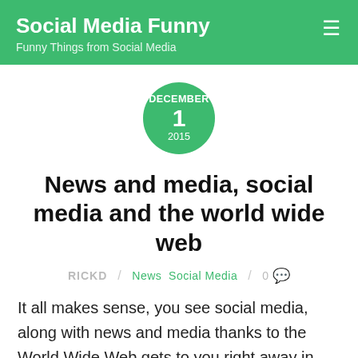Social Media Funny — Funny Things from Social Media
[Figure (other): Green circular date badge showing DECEMBER 1 2015]
News and media, social media and the world wide web
RICKD / News Social Media / 0 💬
It all makes sense, you see social media, along with news and media thanks to the World Wide Web gets to you right away in other words the news, anything that's happening and even stuff like MOAR updates, are right there in front of your computer immediately,